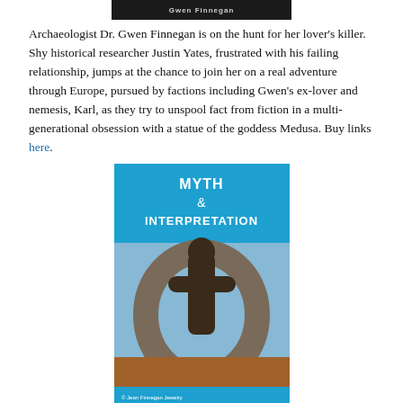[Figure (illustration): Top portion of a book cover — dark background with author name text visible]
Archaeologist Dr. Gwen Finnegan is on the hunt for her lover's killer. Shy historical researcher Justin Yates, frustrated with his failing relationship, jumps at the chance to join her on a real adventure through Europe, pursued by factions including Gwen's ex-lover and nemesis, Karl, as they try to unspool fact from fiction in a multi-generational obsession with a statue of the goddess Medusa. Buy links here.
[Figure (illustration): Book cover for 'Myth & Interpretation' by Devon Ellington — bright blue header text on blue background, bronze/dark statue figure inside a circular stone arch, outdoor scene with orange and blue tones, publisher credit at bottom left, author name at bottom center in white text.]
Stuck in NYC when plans for their next expedition fall through, Gwen and Justin accept teaching jobs at different local universities. Adjusting to their day-to-day relationship, and juggling the academic and emotional demands of their students, they are embroiled in two different, disturbing, paranormal situations that have more than one unusual